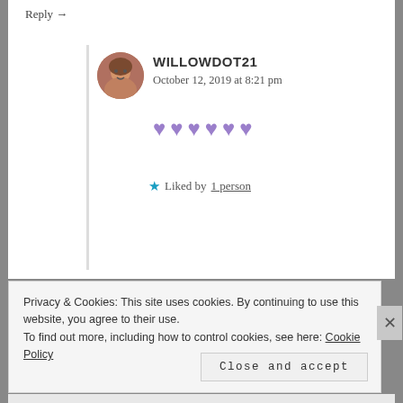Reply →
WILLOWDOT21
October 12, 2019 at 8:21 pm
💜💜💜💜💜💜
Liked by 1 person
Privacy & Cookies: This site uses cookies. By continuing to use this website, you agree to their use. To find out more, including how to control cookies, see here: Cookie Policy
Close and accept